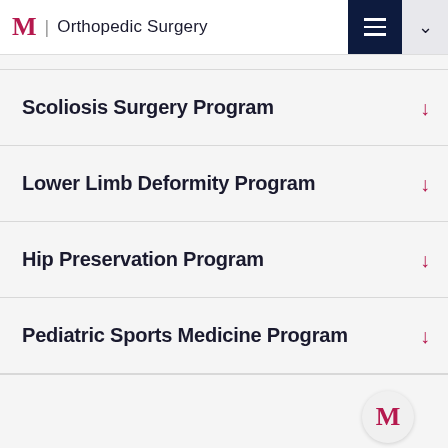M | Orthopedic Surgery
Scoliosis Surgery Program
Lower Limb Deformity Program
Hip Preservation Program
Pediatric Sports Medicine Program
M